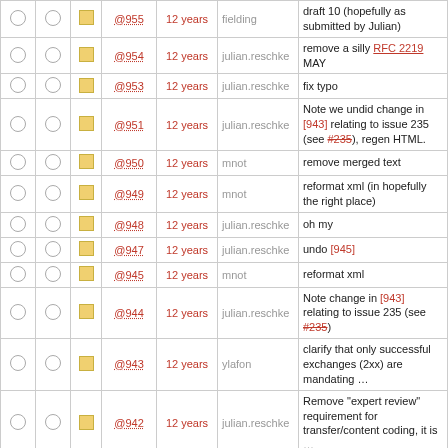|  |  |  | Rev | Age | Author | Message |
| --- | --- | --- | --- | --- | --- | --- |
| ○ | ○ | □ | @955 | 12 years | fielding | draft 10 (hopefully as submitted by Julian) |
| ○ | ○ | □ | @954 | 12 years | julian.reschke | remove a silly RFC 2219 MAY |
| ○ | ○ | □ | @953 | 12 years | julian.reschke | fix typo |
| ○ | ○ | □ | @951 | 12 years | julian.reschke | Note we undid change in [943] relating to issue 235 (see #235), regen HTML. |
| ○ | ○ | □ | @950 | 12 years | mnot | remove merged text |
| ○ | ○ | □ | @949 | 12 years | mnot | reformat xml (in hopefully the right place) |
| ○ | ○ | □ | @948 | 12 years | julian.reschke | oh my |
| ○ | ○ | □ | @947 | 12 years | julian.reschke | undo [945] |
| ○ | ○ | □ | @945 | 12 years | mnot | reformat xml |
| ○ | ○ | □ | @944 | 12 years | julian.reschke | Note change in [943] relating to issue 235 (see #235) |
| ○ | ○ | □ | @943 | 12 years | ylafon | clarify that only successful exchanges (2xx) are mandating … |
| ○ | ○ | □ | @942 | 12 years | julian.reschke | Remove "expert review" requirement for transfer/content coding, it is … |
| ○ | ○ | □ | @939 | 12 years | julian.reschke | regen HTML |
| ○ | ○ | □ | @938 | 12 years | mnot | Remove "host part" TODO; now #236. |